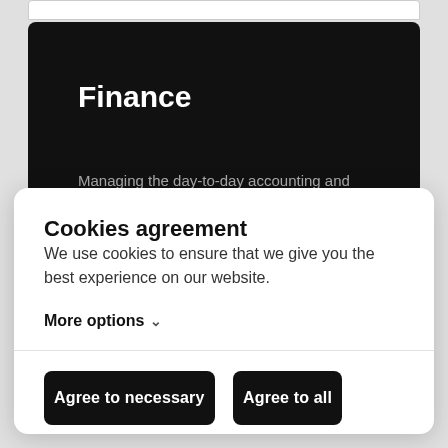Finance
Managing the day-to-day accounting and
Cookies agreement
We use cookies to ensure that we give you the best experience on our website.
More options ∨
Agree to necessary
Agree to all